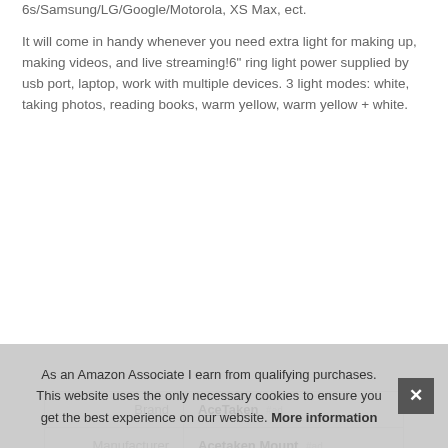6s/Samsung/LG/Google/Motorola, XS Max, ect.
It will come in handy whenever you need extra light for making up, making videos, and live streaming!6" ring light power supplied by usb port, laptop, work with multiple devices. 3 light modes: white, taking photos, reading books, warm yellow, warm yellow + white.
|  |  |
| --- | --- |
| Brand | AceTaken #ad |
| Manufacturer | Acetaken Mount #ad |
| Weight | 2.65 Pounds |
| P |  |
As an Amazon Associate I earn from qualifying purchases. This website uses the only necessary cookies to ensure you get the best experience on our website. More information